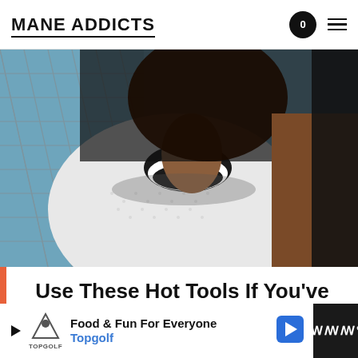MANE ADDICTS
[Figure (photo): Person with natural hair wearing a white mesh shirt, photographed from the neck down against a chain-link fence with sky background, high contrast]
Use These Hot Tools If You've Got Natural Hair
Non-damaging tools to keep those curls healthy!
Read More...
[Figure (other): Advertisement banner: Topgolf - Food & Fun For Everyone]